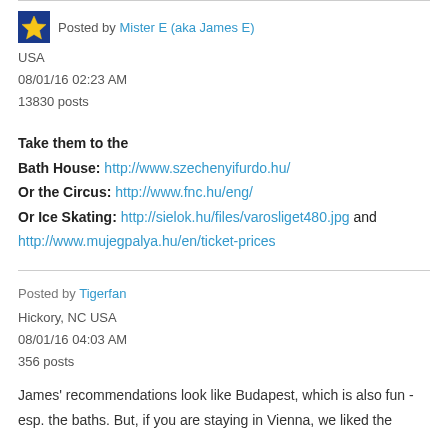Posted by Mister E (aka James E)
USA
08/01/16 02:23 AM
13830 posts
Take them to the
Bath House: http://www.szechenyifurdo.hu/
Or the Circus: http://www.fnc.hu/eng/
Or Ice Skating: http://sielok.hu/files/varosliget480.jpg and http://www.mujegpalya.hu/en/ticket-prices
Posted by Tigerfan
Hickory, NC USA
08/01/16 04:03 AM
356 posts
James' recommendations look like Budapest, which is also fun - esp. the baths. But, if you are staying in Vienna, we liked the